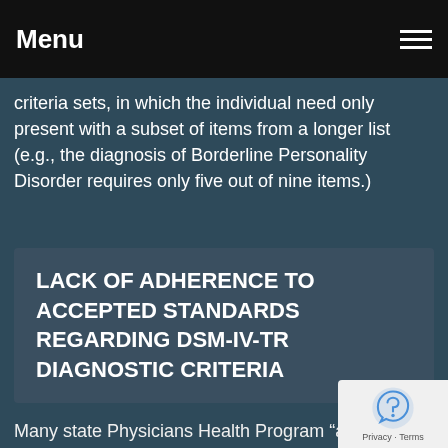Menu
criteria sets, in which the individual need only present with a subset of items from a longer list (e.g., the diagnosis of Borderline Personality Disorder requires only five out of nine items.)
LACK OF ADHERENCE TO ACCEPTED STANDARDS REGARDING DSM-IV-TR DIAGNOSTIC CRITERIA
Many state Physicians Health Program “agents” do not have any qualifications other than those to do substance abuse treatment “peer mentoring” through A.A. or 12-step programs. PHP or ASAM medical professionals may have limited licensure, may be monitored themselves by state medical boards, and may not have access to